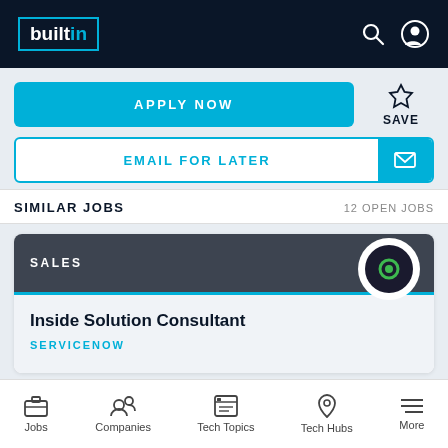builtin
APPLY NOW
SAVE
EMAIL FOR LATER
SIMILAR JOBS
12 OPEN JOBS
SALES
Inside Solution Consultant
SERVICENOW
Jobs  Companies  Tech Topics  Tech Hubs  More